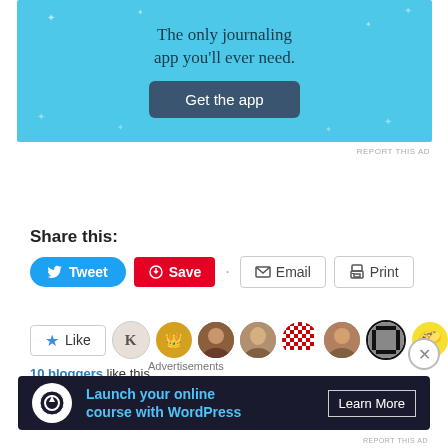[Figure (screenshot): Blue advertisement banner for a journaling app with text 'The only journaling app you'll ever need.' and a 'Get the app' button]
REPORT THIS AD
Share this:
[Figure (screenshot): Social sharing buttons: Tweet (Twitter/blue), Save (Pinterest/red), Email, Print]
[Figure (screenshot): Like button with star icon followed by 10 blogger avatar thumbnails]
10 bloggers like this.
Advertisements
[Figure (screenshot): Dark advertisement banner: 'Launch your online course with WordPress' with a Learn More button]